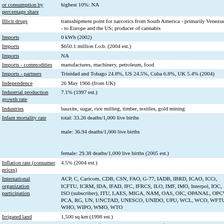| Key | Value |
| --- | --- |
| or consumption by percentage share | highest 10%: NA |
| Illicit drugs | transshipment point for narcotics from South America - primarily Venezuela - to Europe and the US; producer of cannabis |
| Imports | 0 kWh (2002) |
| Imports | $650.1 million f.o.b. (2004 est.) |
| Imports | NA |
| Imports - commodities | manufactures, machinery, petroleum, food |
| Imports - partners | Trinidad and Tobago 24.8%, US 24.5%, Cuba 6.8%, UK 5.4% (2004) |
| Independence | 26 May 1966 (from UK) |
| Industrial production growth rate | 7.1% (1997 est.) |
| Industries | bauxite, sugar, rice milling, timber, textiles, gold mining |
| Infant mortality rate | total: 33.26 deaths/1,000 live births
male: 36.94 deaths/1,000 live births
female: 29.38 deaths/1,000 live births (2005 est.) |
| Inflation rate (consumer prices) | 4.5% (2004 est.) |
| International organization participation | ACP, C, Caricom, CDB, CSN, FAO, G-77, IADB, IBRD, ICAO, ICCt, ICFTU, ICRM, IDA, IFAD, IFC, IFRCS, ILO, IMF, IMO, Interpol, IOC, ISO (subscriber), ITU, LAES, MIGA, NAM, OAS, OIC, OPANAL, OPCW, PCA, RG, UN, UNCTAD, UNESCO, UNIDO, UPU, WCL, WCO, WFTU, WHO, WIPO, WMO, WTO |
| Irrigated land | 1,500 sq km (1998 est.) |
| Judicial branch | Supreme Court of Judicature; Judicial Court of Appeal; High Court |
| Labor force | 418,000 (2001 est.) |
| Labor force - by occupation | agriculture NA%, industry NA%, services NA% |